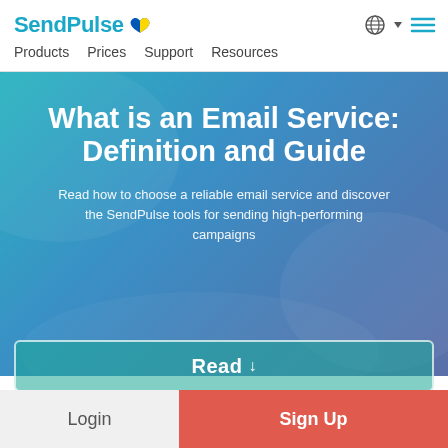SendPulse
Products  Prices  Support  Resources
What is an Email Service: Definition and Guide
Read how to choose a reliable email service and discover the SendPulse tools for sending high-performing campaigns
Read ↓
Login
Sign Up